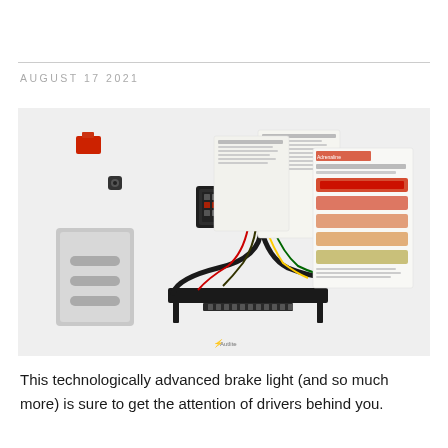AUGUST 17 2021
[Figure (photo): Product photo showing a brake light kit including an LED light bar, wiring harness, mounting bracket, hardware, and instruction/product sheets laid out on a white surface.]
This technologically advanced brake light (and so much more) is sure to get the attention of drivers behind you.